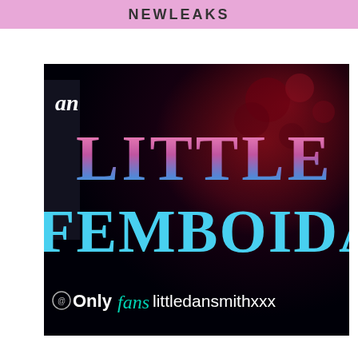NEWLEAKS
[Figure (illustration): Dark space/nebula background image showing text 'an LITTLE FEMBOIDA' in pink/cyan gradient serif font, with OnlyFans logo and username 'littledansmithxxx' at the bottom.]